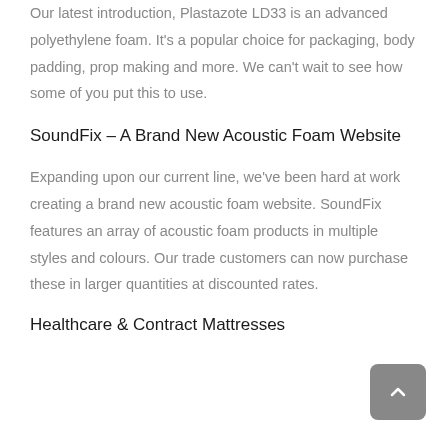Our latest introduction, Plastazote LD33 is an advanced polyethylene foam. It's a popular choice for packaging, body padding, prop making and more. We can't wait to see how some of you put this to use.
SoundFix – A Brand New Acoustic Foam Website
Expanding upon our current line, we've been hard at work creating a brand new acoustic foam website. SoundFix features an array of acoustic foam products in multiple styles and colours. Our trade customers can now purchase these in larger quantities at discounted rates.
Healthcare & Contract Mattresses